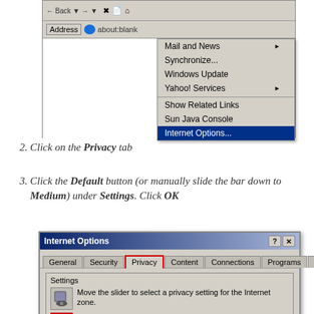[Figure (screenshot): Internet Explorer browser window showing Tools dropdown menu with 'Internet Options...' item highlighted in blue. Menu items include Mail and News, Synchronize..., Windows Update, Yahoo! Services, Show Related Links, Sun Java Console, Internet Options...]
2. Click on the Privacy tab
3. Click the Default button (or manually slide the bar down to Medium) under Settings. Click OK
[Figure (screenshot): Internet Options dialog window showing tabs: General, Security, Privacy (highlighted with red border), Content, Connections, Programs, Advanced. Settings group shows slider icon and text 'Move the slider to select a privacy setting for the Internet zone.' and 'Medium High' label.]